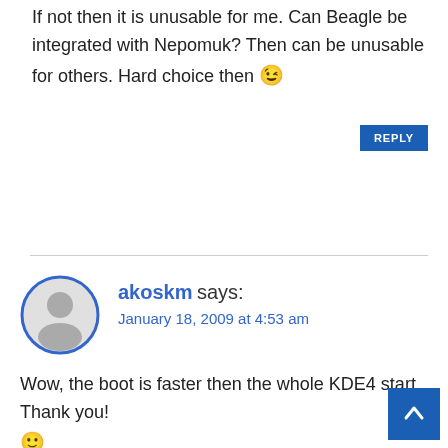If not then it is unusable for me. Can Beagle be integrated with Nepomuk? Then can be unusable for others. Hard choice then 😉
akoskm says:
January 18, 2009 at 4:53 am
Wow, the boot is faster then the whole KDE4 start.
Thank you!
🙂